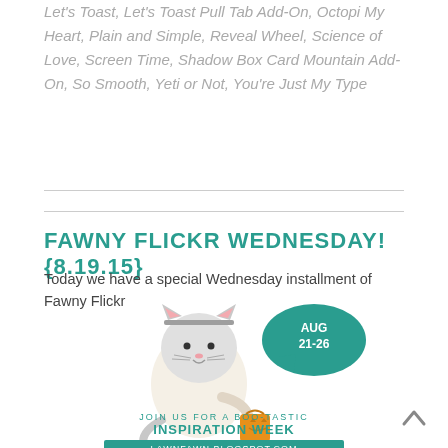Let's Toast, Let's Toast Pull Tab Add-On, Octopi My Heart, Plain and Simple, Reveal Wheel, Science of Love, Screen Time, Shadow Box Card Mountain Add-On, So Smooth, Yeti or Not, You're Just My Type
FAWNY FLICKR WEDNESDAY! {8.19.15}
Today we have a special Wednesday installment of Fawny Flickr
[Figure (illustration): Lawn Fawn promotional illustration: a cute cartoon cat character wearing a cat-ear hat, holding a jack-o-lantern bag, with a teal speech bubble saying 'AUG 21-26'. Below: 'JOIN US FOR A BOO-TASTIC INSPIRATION WEEK' in teal text, and 'LAWNFAWN.BLOGSPOT.COM' in a teal banner.]